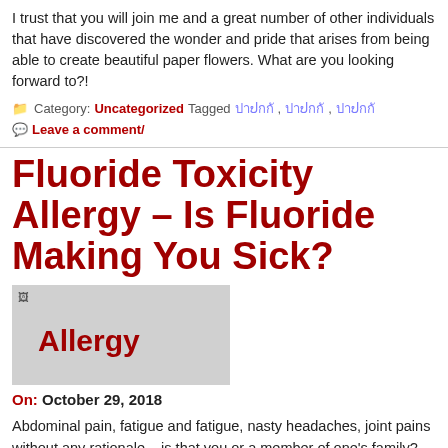I trust that you will join me and a great number of other individuals that have discovered the wonder and pride that arises from being able to create beautiful paper flowers. What are you looking forward to?!
Category: Uncategorized Tagged [tags], Leave a comment/
Fluoride Toxicity Allergy – Is Fluoride Making You Sick?
[Figure (photo): Broken image placeholder with alt text 'Allergy' in red bold text on grey background]
On: October 29, 2018
Abdominal pain, fatigue and fatigue, nasty headaches, joint pains without any rationale – is that you or a member of one's family? Will there be a very simple cause and straight-forward solution, frequently overlooked by roughly ninety 5 percent of health practitioners?
It is allegedly for tooth corrosion management in children. Canada once had more than fifty allergies tooth pain percent of people using fluoridated drinking water but is now down to about half an percent, with